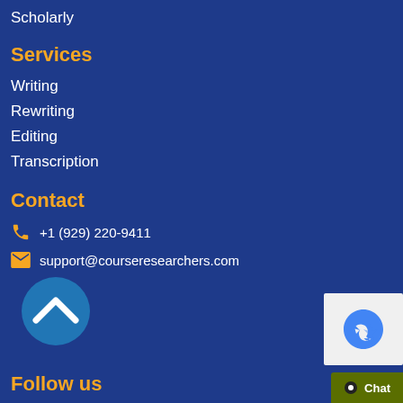Scholarly
Services
Writing
Rewriting
Editing
Transcription
Contact
+1 (929) 220-9411
support@courseresearchers.com
[Figure (illustration): Back to top button - circular blue chevron/arrow up icon]
Follow us